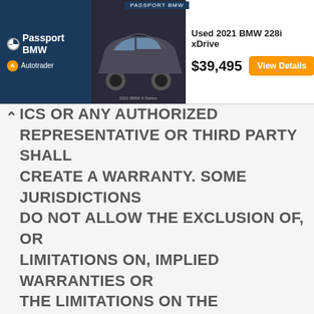[Figure (screenshot): Passport BMW advertisement banner on Autotrader showing a Used 2021 BMW 228i xDrive for $39,495 with a View Details button and a car image]
ICS OR ANY AUTHORIZED REPRESENTATIVE OR THIRD PARTY SHALL CREATE A WARRANTY. SOME JURISDICTIONS DO NOT ALLOW THE EXCLUSION OF, OR LIMITATIONS ON, IMPLIED WARRANTIES OR THE LIMITATIONS ON THE APPLICABLE STATUTORY RIGHTS OF A CONSUMER, SO SOME OR ALL OF THE ABOVE EXCLUSIONS AND LIMITATIONS MAY NOT APPLY TO YOU.THE FOREGOING DISCLAIMER OF REPRESENTATIONS AND WARRANTIES SHALL APPLY TO THE FULLEST EXTENT PERMITTED BY LAW AND SHALL SURVIVE ANY TERMINATION OR EXPIRATION OF THIS EULA AGREEMENT OR YOUR USE OF THIS SITE OR